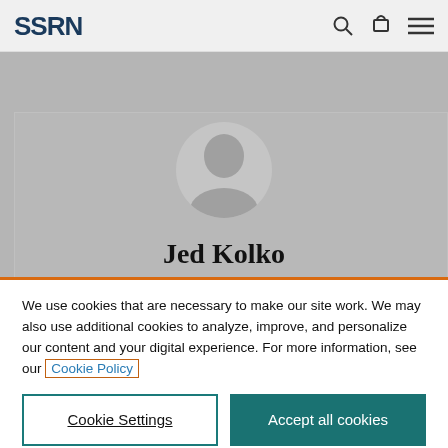SSRN
[Figure (screenshot): SSRN profile page background with placeholder avatar silhouette and partially visible name 'Jed Kolko']
We use cookies that are necessary to make our site work. We may also use additional cookies to analyze, improve, and personalize our content and your digital experience. For more information, see our Cookie Policy
Cookie Settings
Accept all cookies